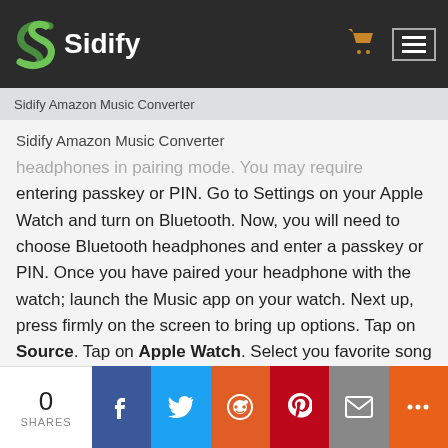[Figure (logo): Sidify logo with green S icon and white Sidify text on dark background header]
Sidify Amazon Music Converter
headphones in pairing mode. You may require entering passkey or PIN. Go to Settings on your Apple Watch and turn on Bluetooth. Now, you will need to choose Bluetooth headphones and enter a passkey or PIN. Once you have paired your headphone with the watch; launch the Music app on your watch. Next up, press firmly on the screen to bring up options. Tap on Source. Tap on Apple Watch. Select you favorite song and enjoy music.
0 SHARES | Facebook | Twitter | Reddit | Pinterest | Email | More